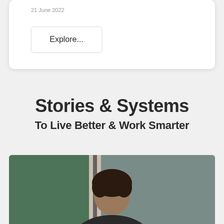21 June 2022
Explore...
Stories & Systems
To Live Better & Work Smarter
[Figure (photo): A person with curly dark hair photographed against a green and grey background]